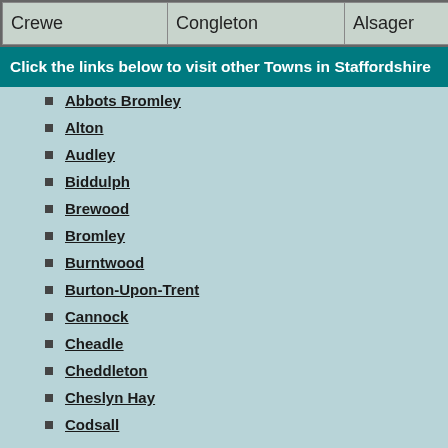| Crewe | Congleton | Alsager |
Click the links below to visit other Towns in Staffordshire
Abbots Bromley
Alton
Audley
Biddulph
Brewood
Bromley
Burntwood
Burton-Upon-Trent
Cannock
Cheadle
Cheddleton
Cheslyn Hay
Codsall